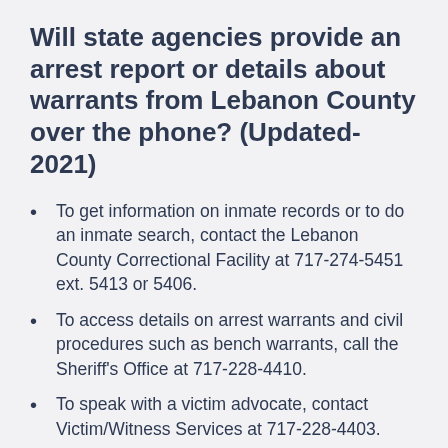Will state agencies provide an arrest report or details about warrants from Lebanon County over the phone? (Updated-2021)
To get information on inmate records or to do an inmate search, contact the Lebanon County Correctional Facility at 717-274-5451 ext. 5413 or 5406.
To access details on arrest warrants and civil procedures such as bench warrants, call the Sheriff's Office at 717-228-4410.
To speak with a victim advocate, contact Victim/Witness Services at 717-228-4403.
To access criminal case search reports, call the Clerk of Court at 717-228-4418.
Crime Statistics for Lebanon